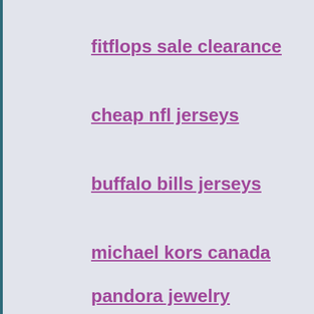fitflops sale clearance
cheap nfl jerseys
buffalo bills jerseys
michael kors canada
pandora jewelry